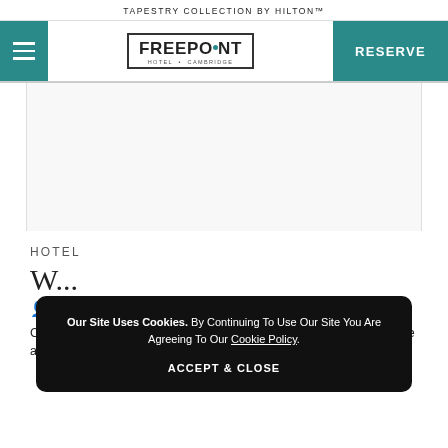TAPESTRY COLLECTION BY HILTON™
[Figure (logo): Freepoint Hotel Cambridge logo with hamburger menu and RESERVE button in teal]
[Figure (photo): White/blank content area placeholder]
HOTEL
W...
Cambridge is a premier cycling city for avid walkers and bikers. There are multiple wa...
Our Site Uses Cookies. By Continuing To Use Our Site You Are Agreeing To Our Cookie Policy. ACCEPT & CLOSE